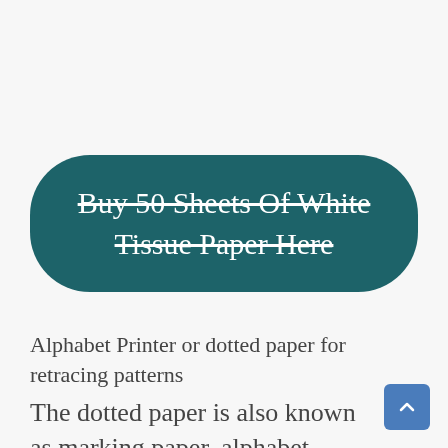[Figure (other): Teal rounded rectangle button with strikethrough white text reading 'Buy 50 Sheets Of White Tissue Paper Here']
Alphabet Printer or dotted paper for retracing patterns
The dotted paper is also known as marking paper, alphabet paper, or